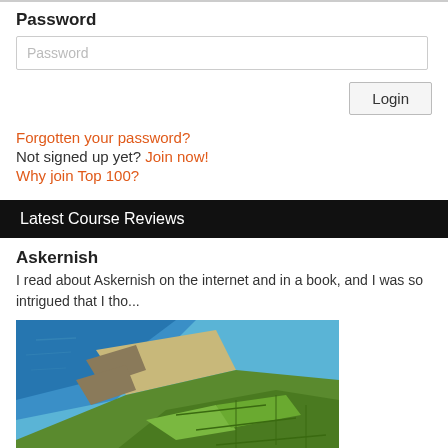Password
Password (input field placeholder)
Login (button)
Forgotten your password?
Not signed up yet? Join now!
Why join Top 100?
Latest Course Reviews
Askernish
I read about Askernish on the internet and in a book, and I was so intrigued that I tho...
[Figure (photo): Aerial photograph of Askernish golf course showing coastline with blue sea on the left, sandy beach, and green fairways stretching along the coast.]